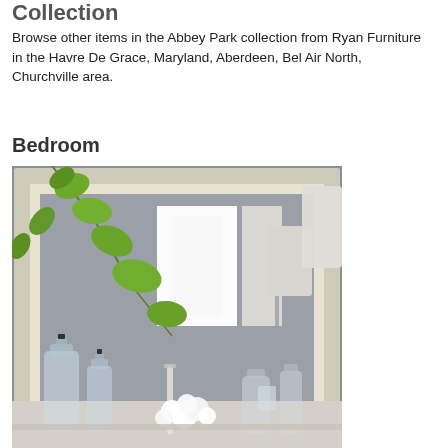Collection
Browse other items in the Abbey Park collection from Ryan Furniture in the Havre De Grace, Maryland, Aberdeen, Bel Air North, Churchville area.
Bedroom
[Figure (photo): A bedroom mirror with a white/silver frame displayed with glass vases containing green foliage, white flowers, and a candle on a dresser surface. Background shows a grey wall and arched window reflection.]